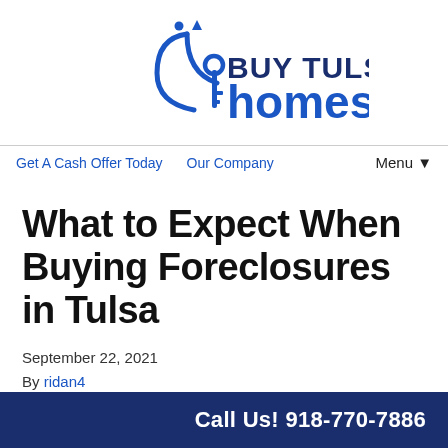[Figure (logo): Buy Tulsa Homes logo with smiley face and key icon in blue]
Get A Cash Offer Today   Our Company   Menu ▼
What to Expect When Buying Foreclosures in Tulsa
September 22, 2021
By ridan4
While the foreclosure process is not an ideal situation for the
Call Us! 918-770-7886